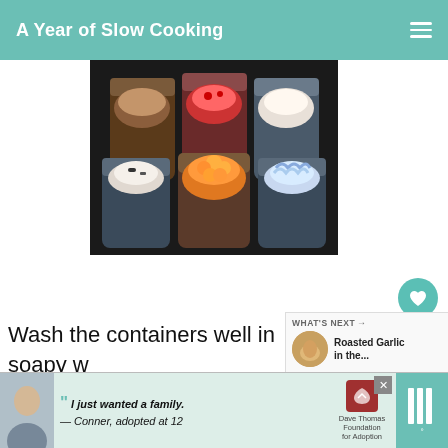A Year of Slow Cooking
[Figure (photo): Photo of multiple glass jars filled with colorful ice cream or desserts in different flavors, arranged in a dark slow cooker]
Wash the containers well in soapy w... dry completely.
[Figure (other): What's Next callout with thumbnail of roasted garlic and text: Roasted Garlic in the...]
[Figure (other): Advertisement banner: I just wanted a family. — Conner, adopted at 12. Dave Thomas Foundation for Adoption.]